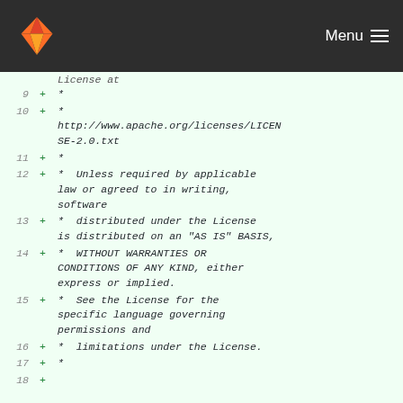Menu
Diff view of a file showing lines 9-18 of an Apache License 2.0 header addition
9  +  *
10 +  *   http://www.apache.org/licenses/LICENSE-2.0.txt
11 +  *
12 +  *  Unless required by applicable law or agreed to in writing, software
13 +  *  distributed under the License is distributed on an "AS IS" BASIS,
14 +  *  WITHOUT WARRANTIES OR CONDITIONS OF ANY KIND, either express or implied.
15 +  *  See the License for the specific language governing permissions and
16 +  *  limitations under the License.
17 +  *
18 +